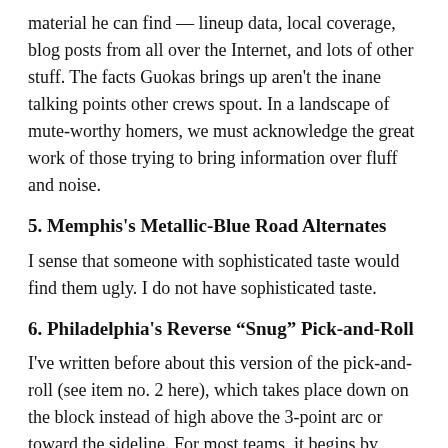material he can find — lineup data, local coverage, blog posts from all over the Internet, and lots of other stuff. The facts Guokas brings up aren't the inane talking points other crews spout. In a landscape of mute-worthy homers, we must acknowledge the great work of those trying to bring information over fluff and noise.
5. Memphis's Metallic-Blue Road Alternates
I sense that someone with sophisticated taste would find them ugly. I do not have sophisticated taste.
6. Philadelphia's Reverse “Snug” Pick-and-Roll
I've written before about this version of the pick-and-roll (see item no. 2 here), which takes place down on the block instead of high above the 3-point arc or toward the sideline. For most teams, it begins by entering the ball to a guard posting up at the edge of the paint. As that guard — Kobe Bryant and Monta Ellis being classic examples — holds the ball with a defender on his back, a big man will meander down from the 3-point arc, squeeze right into the